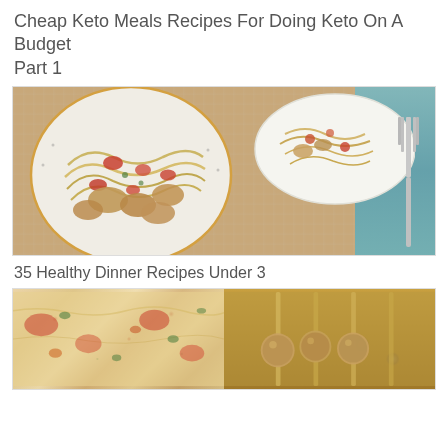Cheap Keto Meals Recipes For Doing Keto On A Budget Part 1
[Figure (photo): A plate of pasta with chicken pieces and tomatoes, with a fork and another plate in the background on a linen tablecloth]
35 Healthy Dinner Recipes Under 3
[Figure (photo): Two food images side by side: left shows a pizza or casserole with vegetables and cheese, right shows meatballs on skewers]